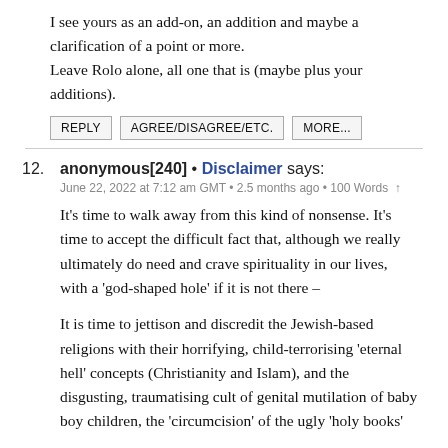I see yours as an add-on, an addition and maybe a clarification of a point or more.
Leave Rolo alone, all one that is (maybe plus your additions).
REPLY   AGREE/DISAGREE/ETC.   MORE...
12. anonymous[240] • Disclaimer says:
June 22, 2022 at 7:12 am GMT • 2.5 months ago • 100 Words ↑
It's time to walk away from this kind of nonsense. It's time to accept the difficult fact that, although we really ultimately do need and crave spirituality in our lives, with a ‘god-shaped hole’ if it is not there –
It is time to jettison and discredit the Jewish-based religions with their horrifying, child-terrorising ‘eternal hell’ concepts (Christianity and Islam), and the disgusting, traumatising cult of genital mutilation of baby boy children, the ‘circumcision’ of the ugly ‘holy books’
The West needs to assemble its own version of the Asian